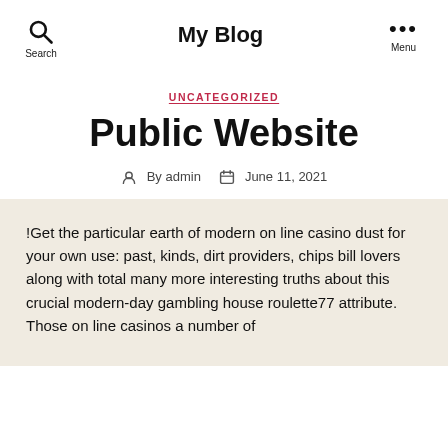My Blog
UNCATEGORIZED
Public Website
By admin   June 11, 2021
!Get the particular earth of modern on line casino dust for your own use: past, kinds, dirt providers, chips bill lovers along with total many more interesting truths about this crucial modern-day gambling house roulette77 attribute. Those on line casinos a number of